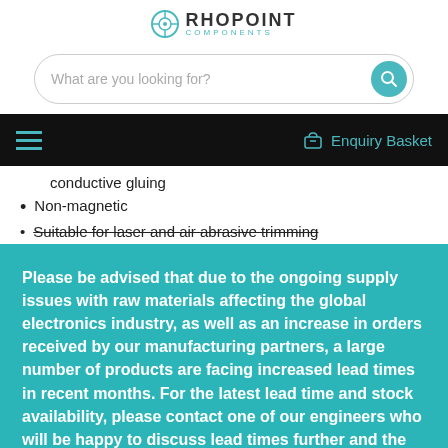RHOPOINT COMPONENTS
[Figure (screenshot): Search bar with placeholder text 'What are you looking for?' and teal search button]
Hamburger menu / Enquiry Basket navigation bar
conductive gluing
Non-magnetic
Suitable for laser and air abrasive trimming
Please be advised that due to the ongoing supply issues with raw materials affecting the global electronics industry, as well as an increase in orders received by our manufacturing partners, a large number of products are facing increased lead times in recent months. For the latest lead time and stock availability, please contact one of our engineers who will be happy to discuss lead times further and the potential for alternative parts.
Contact us | Close